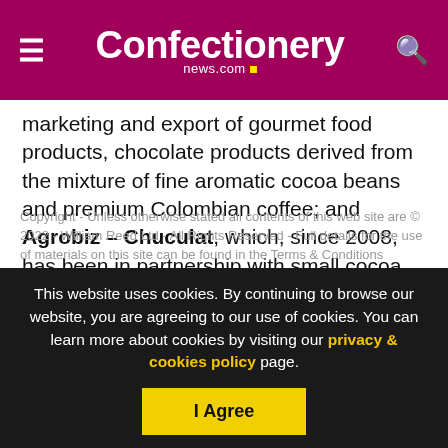Confectionery news.com
marketing and export of gourmet food products, chocolate products derived from the mixture of fine aromatic cocoa beans and premium Colombian coffee; and Agrobiz – Chuculat, which, since 2008, has been in partnership with small cocoa producers from different regions of Colombia, to produce and market premium chocolates.
Copyright - Unless otherwise stated all contents of this web site are © 2022 - William Reed Ltd - All Rights Reserved - Full details for the use of materials on this site can be found in the Terms & Conditions
This website uses cookies. By continuing to browse our website, you are agreeing to our use of cookies. You can learn more about cookies by visiting our privacy & cookies policy page.
I Agree